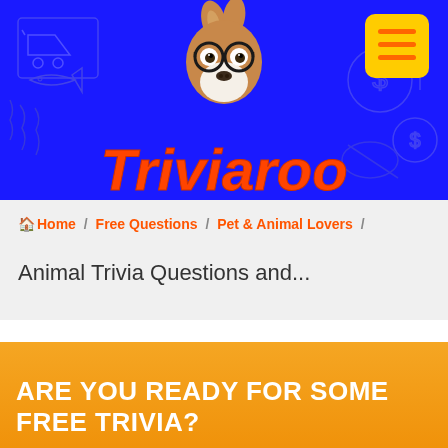[Figure (screenshot): Triviaroo website header banner with blue background, cartoon dog wearing glasses, decorative line art icons, yellow menu button, and orange italic bold logo text 'Triviaroo']
Home / Free Questions / Pet & Animal Lovers /
Animal Trivia Questions and...
ARE YOU READY FOR SOME FREE TRIVIA?